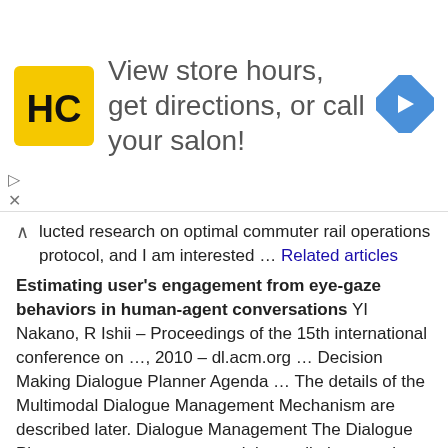[Figure (other): Advertisement banner showing HC salon logo (black H and C on yellow background), text 'View store hours, get directions, or call your salon!', and a blue navigation arrow icon]
lucted research on optimal commuter rail operations protocol, and I am interested … Related articles
Estimating user's engagement from eye-gaze behaviors in human-agent conversations YI Nakano, R Ishii – Proceedings of the 15th international conference on …, 2010 – dl.acm.org … Decision Making Dialogue Planner Agenda … The details of the Multimodal Dialogue Management Mechanism are described later. Dialogue Management The Dialogue Planner uses a request to explain a cell phone as input and generates a plan for explaining the cell phone. … Cited by 52 Related articles
A visualization and user interface framework for heterogeneous distributed environments M Mahnic, D Skocaj – MIPRO, 2012 Proceedings of the 35th …, 2012 – ieeexplore.ieee.org Page 1. A Visualization and User Interface Framework for Heterogeneous Distributed Environments Marko Mahnic, Danijel Skocaj University of Ljubljana, Faculty